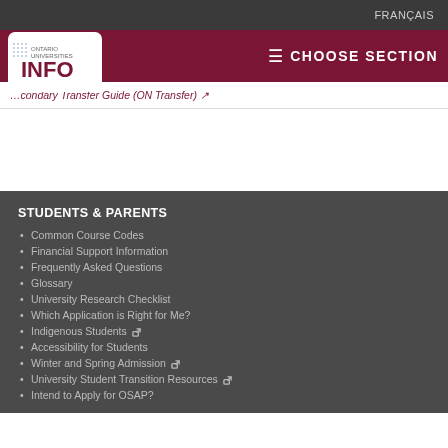FRANÇAIS
[Figure (logo): Ontario Universities INFO logo with colorful dot grid and text]
≡ CHOOSE SECTION
…condary Transfer Guide (ON Transfer) ↗
STUDENTS & PARENTS
Common Course Codes
Financial Support Information
Frequently Asked Questions
Glossary
University Research Checklist
Which Application is Right for Me?
Indigenous Students ↗
Accessibility for Students
Winter and Spring Admission ↗
University Student Transition Resources ↗
Intend to Apply for OSAP?